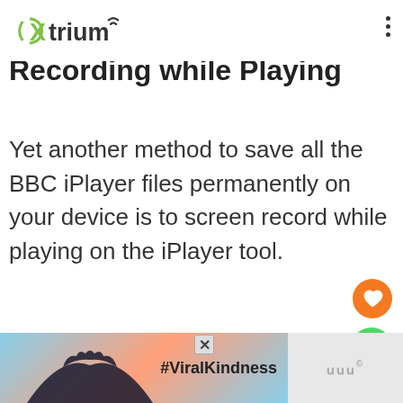Xtrium
Recording while Playing
Yet another method to save all the BBC iPlayer files permanently on your device is to screen record while playing on the iPlayer tool.
[Figure (screenshot): Orange circular like/heart button and green circular share button on right side]
[Figure (screenshot): Advertisement banner with #ViralKindness text and heart-hands silhouette image]